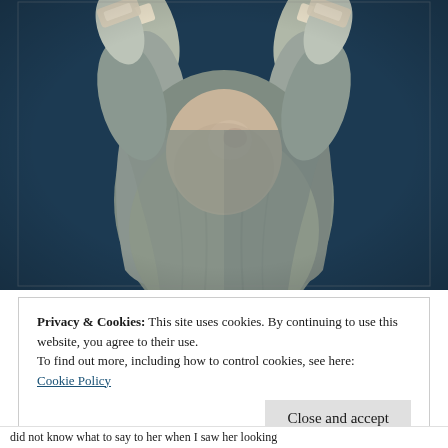[Figure (photo): Overhead view of a bald patient (likely a cancer patient undergoing chemotherapy) seen from above, wearing a gray hospital gown, with both arms raised showing IV/medical tape on both forearms. The background is dark blue.]
Privacy & Cookies: This site uses cookies. By continuing to use this website, you agree to their use.
To find out more, including how to control cookies, see here:
Cookie Policy
Close and accept
did not know what to say to her when I saw her looking